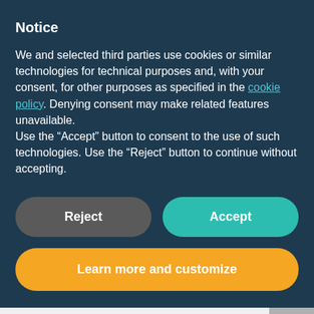Notice
We and selected third parties use cookies or similar technologies for technical purposes and, with your consent, for other purposes as specified in the cookie policy. Denying consent may make related features unavailable.
Use the “Accept” button to consent to the use of such technologies. Use the “Reject” button to continue without accepting.
Reject
Accept
Learn more and customize
As with the PCR, the maximum tariff per kWh that can be received as feed-in tariff is updated annually and represents a basic amount that will be received for the energy generated. Hence, the subsidy per kWh is the difference between the basic amount and the correction amount. The correction amount is